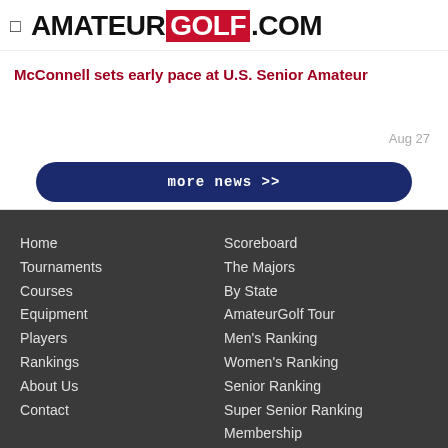AMATEUR GOLF .COM
McConnell sets early pace at U.S. Senior Amateur
Aug 27
more news >>
Home
Tournaments
Courses
Equipment
Players
Rankings
About Us
Contact
Scoreboard
The Majors
By State
AmateurGolf Tour
Men's Ranking
Women's Ranking
Senior Ranking
Super Senior Ranking
Membership